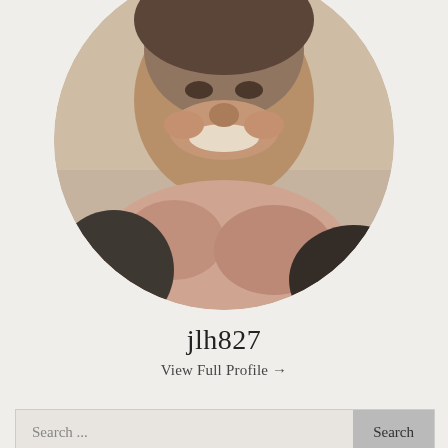[Figure (photo): Circular profile photo of a smiling woman wearing a floral scarf]
jlh827
View Full Profile →
Search ...   Search
FOLLOW ECZEMA.HOLISTIC.HEALING